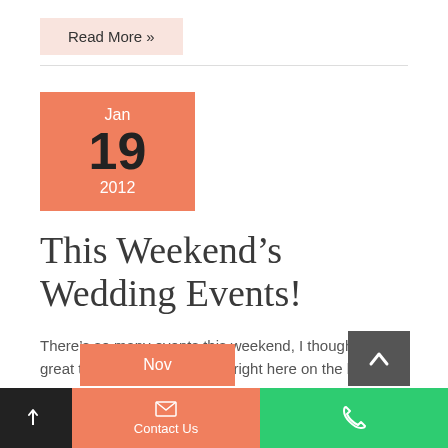Read More »
Jan
19
2012
This Weekend's Wedding Events!
There's so many events this weekend, I thought it'd be great to break them all down right here on the blog!
Nov
Contact Us